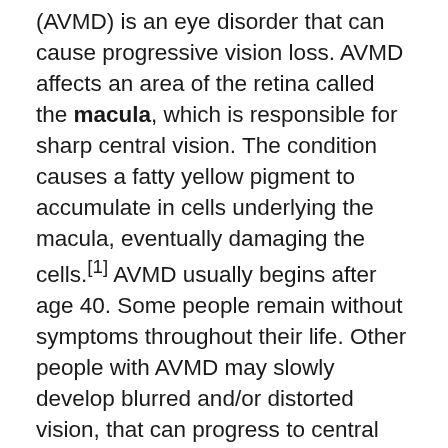(AVMD) is an eye disorder that can cause progressive vision loss. AVMD affects an area of the retina called the macula, which is responsible for sharp central vision. The condition causes a fatty yellow pigment to accumulate in cells underlying the macula, eventually damaging the cells.[1] AVMD usually begins after age 40. Some people remain without symptoms throughout their life. Other people with AVMD may slowly develop blurred and/or distorted vision, that can progress to central vision loss over time.[1][2] In the past, AVMD was believed to be mainly a genetic disorder caused by mutations in the PRPH2, BEST1, IMPG1, and IMPG2 genes; however, recent studies focused on genetic testing suggest that the genetic cause for most cases of AVMD has not been found.[2][3] Sometimes AVMD clearly runs in families in an autosomal dominant manner, but the inheritance is suspected to be more